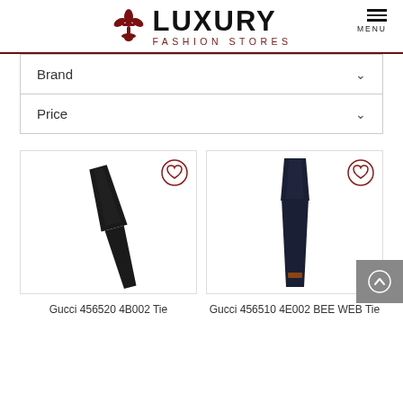LUXURY FASHION STORES
Brand
Price
[Figure (photo): Dark black Gucci necktie laid diagonally on white background, product photo]
Gucci 456520 4B002 Tie
[Figure (photo): Dark navy blue Gucci necktie with small logo detail laid diagonally on white background, product photo]
Gucci 456510 4E002 BEE WEB Tie